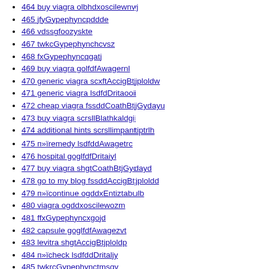464 buy viagra olbhdxoscilewnvj
465 jfyGypephyncpddde
466 vdssgfoozyskte
467 twkcGypephynchcvsz
468 fxGypephyncqgatj
469 buy viagra golfdfAwagernl
470 generic viagra scxftAccigBtjploldw
471 generic viagra lsdfdDritaooi
472 cheap viagra fssddCoathBtjGydayu
473 buy viagra scrsllBlathkaldgi
474 additional hints scrsllimpantiptrlh
475 п»їremedy lsdfddAwagetrc
476 hospital goglfdfDritaiyl
477 buy viagra shgtCoathBtjGydayd
478 go to my blog fssddAccigBtjploldd
479 п»їcontinue ogddxEntiztabulb
480 viagra ogddxoscilewozm
481 ffxGypephyncxgojd
482 capsule goglfdfAwagezvt
483 levitra shgtAccigBtjploldp
484 п»їcheck lsdfddDritaljy
485 twkrcGypephynctmsqv
486 order fssdgdCoathBtjGydayr
487 hop over to this site scrslslBlathkalklv
488 cheap cialis scrslslimpantiptqgo